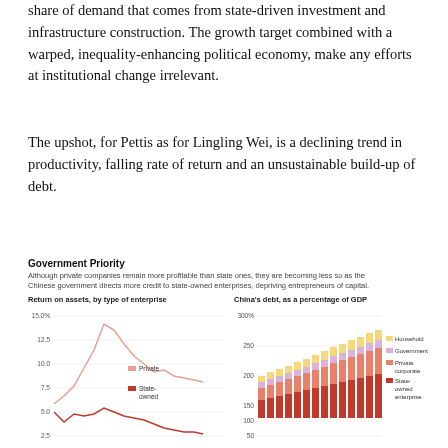share of demand that comes from state-driven investment and infrastructure construction. The growth target combined with a warped, inequality-enhancing political economy, make any efforts at institutional change irrelevant.
The upshot, for Pettis as for Lingling Wei, is a declining trend in productivity, falling rate of return and an unsustainable build-up of debt.
Government Priority
Although private companies remain more profitable than state ones, they are becoming less so as the Chinese government directs more credit to state-owned enterprises, depriving entrepreneurs of capital.
[Figure (line-chart): Line chart showing return on assets by enterprise type (Private and State-owned) over time, with Private higher (~7.5-22.5) and State-owned lower (~2.5-7.5)]
[Figure (stacked-bar-chart): Stacked bar chart showing China's debt as % of GDP broken into Household, Government, Private corporate, and State-owned enterprise segments, growing to ~275%]